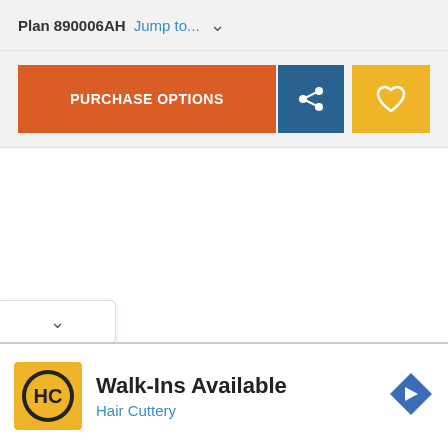Plan 890006AH Jump to... ∨
PURCHASE OPTIONS
[Figure (screenshot): White content area (blank/image not loaded)]
Walk-Ins Available
Hair Cuttery